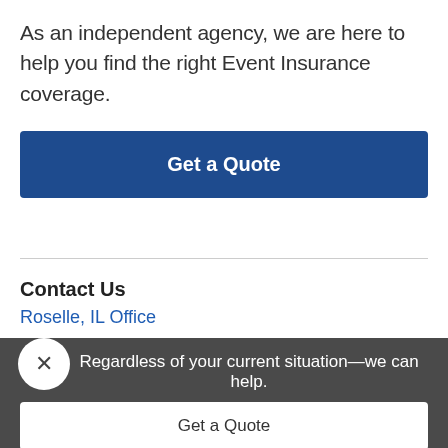As an independent agency, we are here to help you find the right Event Insurance coverage.
Get a Quote
Contact Us
Roselle, IL Office
Regardless of your current situation—we can help.
Get a Quote
Contact Us